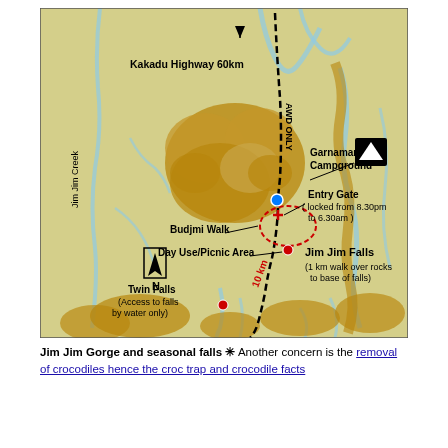[Figure (map): Map of Jim Jim Gorge area in Kakadu showing roads, walking tracks, campground, entry gate, Jim Jim Falls, Twin Falls, Budjmi Walk, Day Use/Picnic Area, and Jim Jim Creek. Features dashed track lines, red and blue marker dots, north arrow, and labels for key locations.]
Jim Jim Gorge and seasonal falls * Another concern is the removal of crocodiles hence the croc trap and crocodile facts